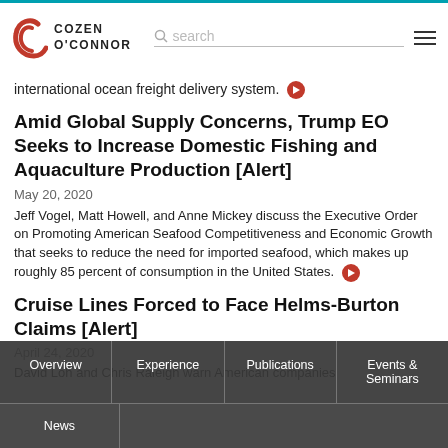Cozen O'Connor - search
international ocean freight delivery system.
Amid Global Supply Concerns, Trump EO Seeks to Increase Domestic Fishing and Aquaculture Production [Alert]
May 20, 2020
Jeff Vogel, Matt Howell, and Anne Mickey discuss the Executive Order on Promoting American Seafood Competitiveness and Economic Growth that seeks to reduce the need for imported seafood, which makes up roughly 85 percent of consumption in the United States.
Cruise Lines Forced to Face Helms-Burton Claims [Alert]
April 24, 2020
David Loh and Chris Raleigh warn American companies